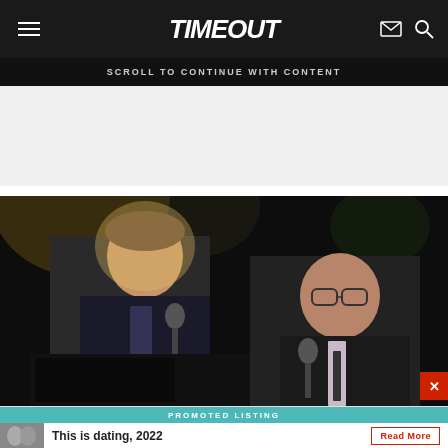TimeOut
SCROLL TO CONTINUE WITH CONTENT
[Figure (photo): Advertisement placeholder area — gray background]
[Figure (photo): Two men in suits on stage performing with microphones against a dark background with stage lighting]
PROMOTED LISTING
This is dating, 2022
Read More